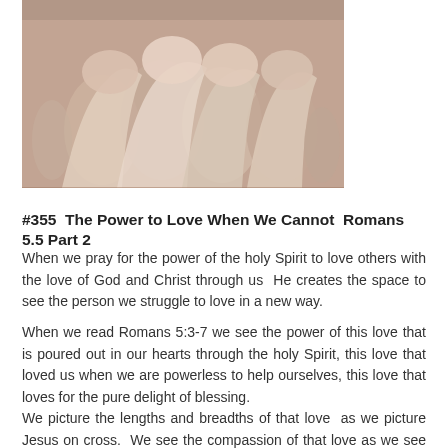[Figure (illustration): A painting depicting a group of people in biblical-era clothing, with robes and head coverings, gathered together. The figures appear to be in a scene from the life of Jesus.]
#355  The Power to Love When We Cannot  Romans 5.5 Part 2
When we pray for the power of the holy Spirit to love others with the love of God and Christ through us  He creates the space to see the person we struggle to love in a new way.
When we read Romans 5:3-7 we see the power of this love that is poured out in our hearts through the holy Spirit, this love that loved us when we are powerless to help ourselves, this love that loves for the pure delight of blessing.
We picture the lengths and breadths of that love  as we picture Jesus on cross.  We see the compassion of that love as we see him heal and preach, being present with people in their need.  We see the honesty